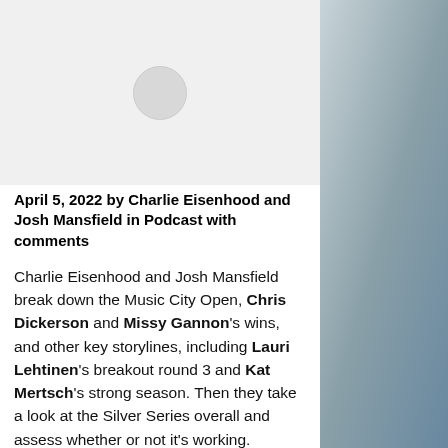[Figure (other): Light gray placeholder image area with a circular loading/placeholder icon in the center]
April 5, 2022 by Charlie Eisenhood and Josh Mansfield in Podcast with comments
Charlie Eisenhood and Josh Mansfield break down the Music City Open, Chris Dickerson and Missy Gannon’s wins, and other key storylines, including Lauri Lehtinen’s breakout round 3 and Kat Mertsch’s strong season. Then they take a look at the Silver Series overall and assess whether or not it’s working. Finishing up, they address the slow pace of play from Nikko Locastro and some other players and whether it needs to be solved.